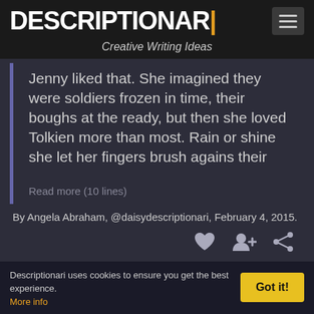DESCRIPTIONAR| — Creative Writing Ideas
Jenny liked that. She imagined they were soldiers frozen in time, their boughs at the ready, but then she loved Tolkien more than most. Rain or shine she let her fingers brush agains their
Read more (10 lines)
By Angela Abraham, @daisydescriptionari, February 4, 2015.
Descriptionari uses cookies to ensure you get the best experience. More info
Got it!